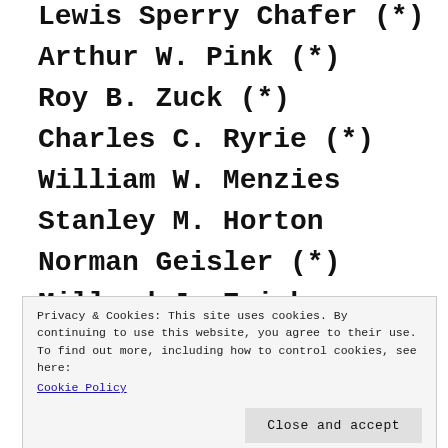Lewis Sperry Chafer (*)
Arthur W. Pink (*)
Roy B. Zuck (*)
Charles C. Ryrie (*)
William W. Menzies
Stanley M. Horton
Norman Geisler (*)
Millard J. Erickson
D. A. Carson (*)
Privacy & Cookies: This site uses cookies. By continuing to use this website, you agree to their use.
To find out more, including how to control cookies, see here: Cookie Policy
Michael Reeves (*)